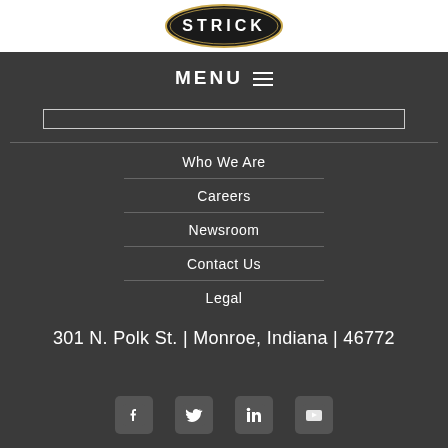[Figure (logo): Strick logo — oval black badge with gold border and white text STRICK]
MENU ≡
Who We Are
Careers
Newsroom
Contact Us
Legal
301 N. Polk St. | Monroe, Indiana | 46772
[Figure (illustration): Social media icons: Facebook, Twitter, LinkedIn, YouTube]